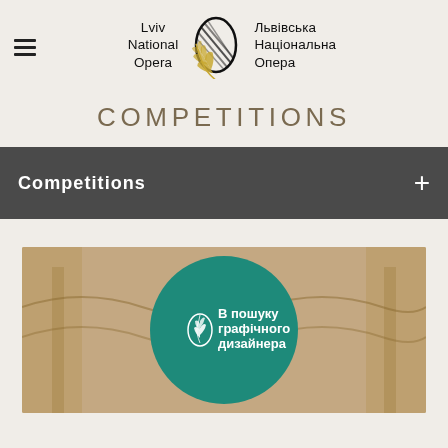[Figure (logo): Lviv National Opera / Львівська Національна Опера bilingual logo with decorative O emblem featuring palm leaf and striped oval]
COMPETITIONS
Competitions
[Figure (photo): Promotional image showing opera hall interior background with teal circle overlay containing text 'В пошуку графічного дизайнера' in Ukrainian and the opera logo emblem in white]